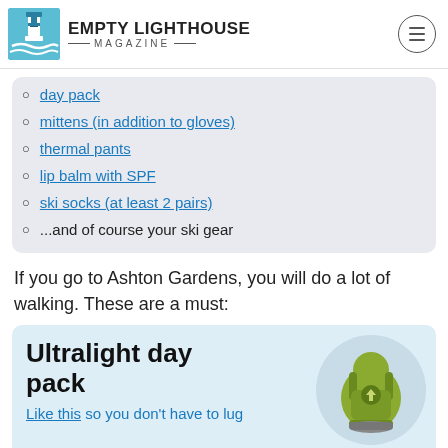EMPTY LIGHTHOUSE MAGAZINE
day pack
mittens (in addition to gloves)
thermal pants
lip balm with SPF
ski socks (at least 2 pairs)
...and of course your ski gear
If you go to Ashton Gardens, you will do a lot of walking. These are a must:
[Figure (other): Product card for Ultralight day pack with green backpack image and link text 'Like this so you don't have to lug']